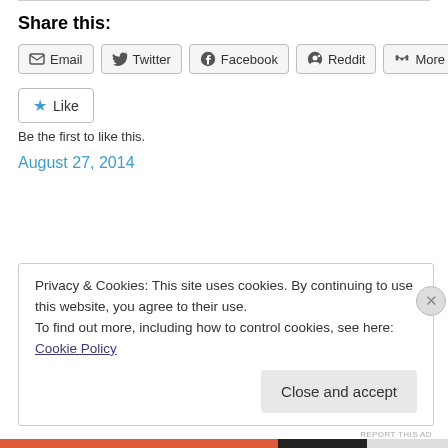Share this:
Email | Twitter | Facebook | Reddit | More
Like
Be the first to like this.
August 27, 2014
Privacy & Cookies: This site uses cookies. By continuing to use this website, you agree to their use.
To find out more, including how to control cookies, see here: Cookie Policy
Close and accept